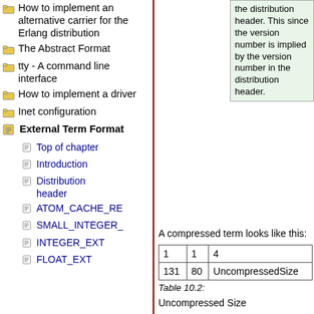How to implement an alternative carrier for the Erlang distribution
The Abstract Format
tty - A command line interface
How to implement a driver
Inet configuration
External Term Format
Top of chapter
Introduction
Distribution header
ATOM_CACHE_RE...
SMALL_INTEGER_...
INTEGER_EXT
FLOAT_EXT
the distribution header. This since the version number is implied by the version number in the distribution header.
A compressed term looks like this:
| 1 | 1 | 4 |
| --- | --- | --- |
| 131 | 80 | UncompressedSize |
Table 10.2:
Uncompressed Size